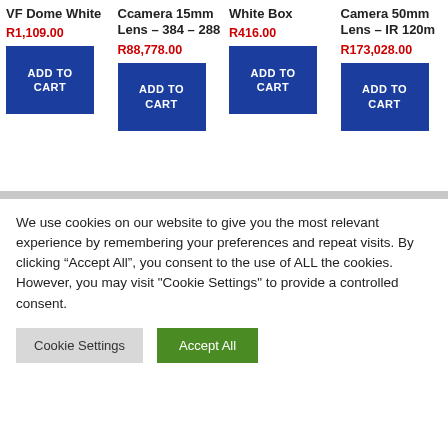VF Dome White
R1,109.00
ADD TO CART
Ccamera 15mm Lens – 384 – 288
R88,778.00
ADD TO CART
White Box
R416.00
ADD TO CART
Camera 50mm Lens – IR 120m
R173,028.00
ADD TO CART
We use cookies on our website to give you the most relevant experience by remembering your preferences and repeat visits. By clicking "Accept All", you consent to the use of ALL the cookies. However, you may visit "Cookie Settings" to provide a controlled consent.